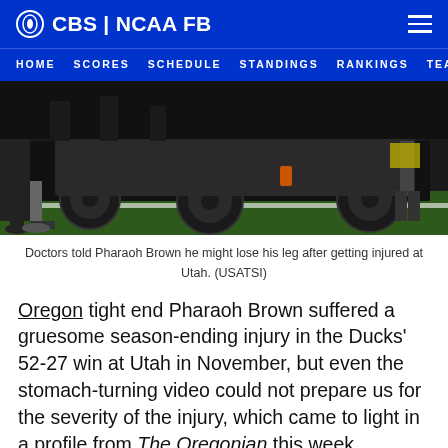CBS | NCAA FB
HOME  SCORES  SCHEDULE  STANDINGS  RANKINGS  TEA
[Figure (photo): Cart/vehicle on a football field sideline with people's legs and feet visible, taken at night during a game at Utah.]
Doctors told Pharaoh Brown he might lose his leg after getting injured at Utah. (USATSI)
Oregon tight end Pharaoh Brown suffered a gruesome season-ending injury in the Ducks' 52-27 win at Utah in November, but even the stomach-turning video could not prepare us for the severity of the injury, which came to light in a profile from The Oregonian this week.
Brown tore two ligaments in his knee while